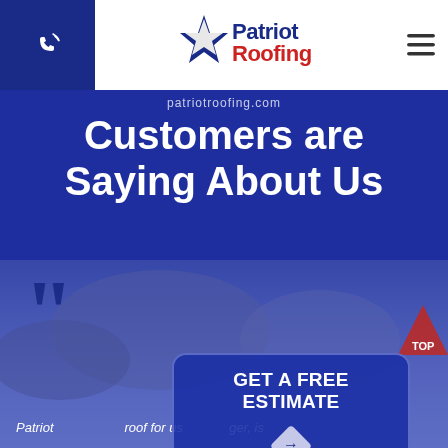[Figure (logo): Patriot Roofing logo with blue star and red/blue text]
Customers are Saying About Us
[Figure (illustration): Blurred background with blue/grey roofing product imagery and red triangle TOP badge]
GET A FREE ESTIMATE
Patriot ... roof for us... ger, is ...